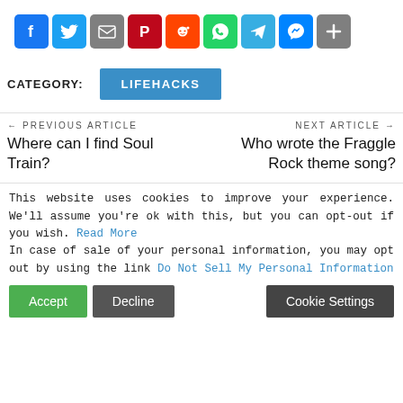[Figure (infographic): Row of social share icons: Facebook, Twitter, Email, Pinterest, Reddit, WhatsApp, Telegram, Messenger, Share/Plus]
CATEGORY:  LIFEHACKS
← PREVIOUS ARTICLE
Where can I find Soul Train?
NEXT ARTICLE →
Who wrote the Fraggle Rock theme song?
This website uses cookies to improve your experience. We'll assume you're ok with this, but you can opt-out if you wish. Read More In case of sale of your personal information, you may opt out by using the link Do Not Sell My Personal Information
Accept  Decline  Cookie Settings